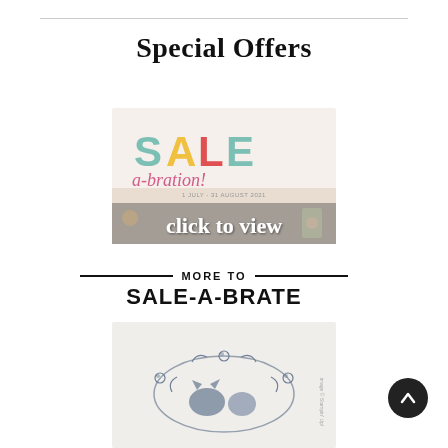Special Offers
[Figure (illustration): Sale-a-bration banner image showing colorful SALE text in teal, yellow, and red letters, with 'a-bration!' in pink cursive below, small date text '1 July - 31 August 2021', and 'click to view' in white script over a collage of craft products]
[Figure (illustration): More To Sale-a-brate header graphic with two horizontal black lines flanking 'MORE TO' text, and 'SALE-A-BRATE' in large bold black text below]
[Figure (illustration): Product image showing a stamp set with floral wreath and animal silhouettes on light background]